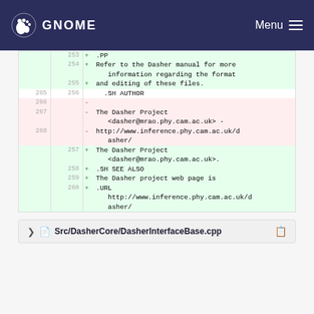GNOME  Menu
Diff view showing lines 253-260 (added) and lines 265-268 (removed/added). Added lines: 253: .PP, 254: Refer to the Dasher manual for more information regarding the format, 255: and editing of these files. Neutral: 265/256: .SH AUTHOR. Removed: 266: -, 267: - The Dasher Project <dasher@mrao.phy.cam.ac.uk> -, 268: - http://www.inference.phy.cam.ac.uk/dasher/. Added: 257: The Dasher Project <dasher@mrao.phy.cam.ac.uk>., 258: .SH SEE ALSO, 259: The Dasher project web page is, 260: .URL, http://www.inference.phy.cam.ac.uk/dasher/
Src/DasherCore/DasherInterfaceBase.cpp